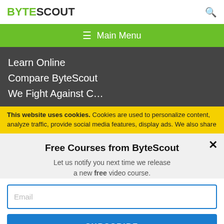BYTESCOUT
≡  Main Menu
Learn Online
Compare ByteScout
We Fight Against C…
This website uses cookies. Cookies are used to personalize content, analyze traffic, provide social media features, display ads. We also share
Free Courses from ByteScout
Let us notify you next time we release a new free video course.
Email
SUBSCRIBE